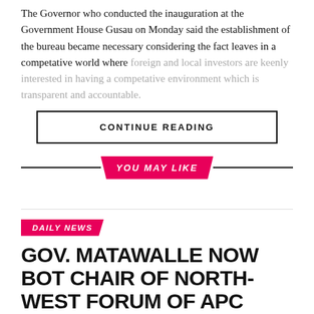The Governor who conducted the inauguration at the Government House Gusau on Monday said the establishment of the bureau became necessary considering the fact leaves in a competative world where foreign and local investors are keenly interested in having a competative environment which is transparent and accountable.
CONTINUE READING
YOU MAY LIKE
DAILY NEWS
GOV. MATAWALLE NOW BOT CHAIR OF NORTH-WEST FORUM OF APC